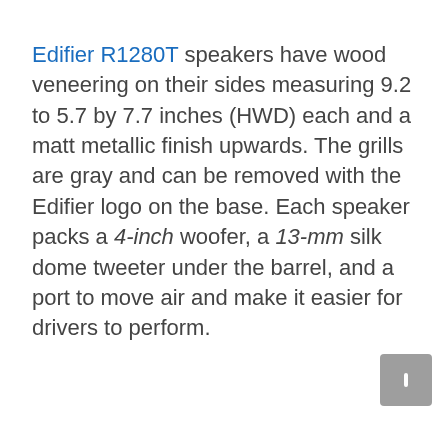Edifier R1280T speakers have wood veneering on their sides measuring 9.2 to 5.7 by 7.7 inches (HWD) each and a matt metallic finish upwards. The grills are gray and can be removed with the Edifier logo on the base. Each speaker packs a 4-inch woofer, a 13-mm silk dome tweeter under the barrel, and a port to move air and make it easier for drivers to perform.